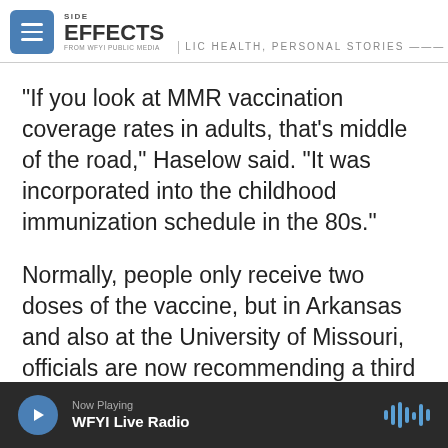SIDE EFFECTS PUBLIC HEALTH, PERSONAL STORIES FROM WFYI PUBLIC MEDIA
“If you look at MMR vaccination coverage rates in adults, that’s middle of the road,” Haselow said. “It was incorporated into the childhood immunization schedule in the 80s.”
Normally, people only receive two doses of the vaccine, but in Arkansas and also at the University of Missouri, officials are now recommending a third dose.
It’s not clear if a third dose is effective in preventing the spread of mumps. The CDC has not issued an
Now Playing WFYI Live Radio